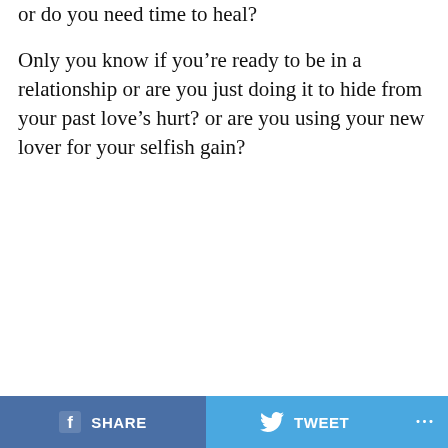or do you need time to heal?
Only you know if you’re ready to be in a relationship or are you just doing it to hide from your past love’s hurt? or are you using your new lover for your selfish gain?
SHARE   TWEET   ...